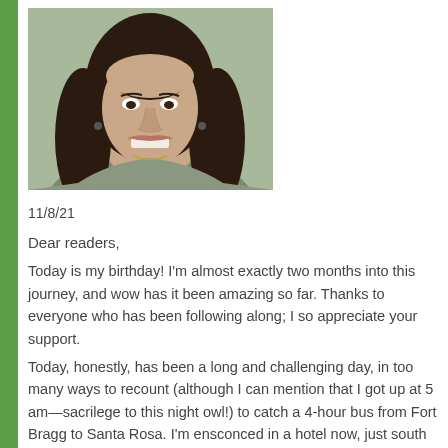[Figure (photo): Portrait photo of a smiling woman with long dark hair, wearing earrings, against a light green background]
11/8/21
Dear readers,
Today is my birthday! I'm almost exactly two months into this journey, and wow has it been amazing so far. Thanks to everyone who has been following along; I so appreciate your support.
Today, honestly, has been a long and challenging day, in too many ways to recount (although I can mention that I got up at 5 am—sacrilege to this night owl!) to catch a 4-hour bus from Fort Bragg to Santa Rosa. I'm ensconced in a hotel now, just south of town,